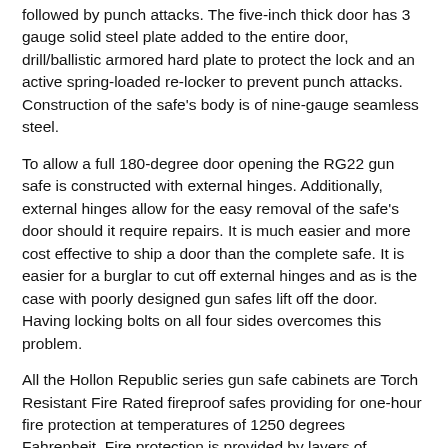followed by punch attacks. The five-inch thick door has 3 gauge solid steel plate added to the entire door, drill/ballistic armored hard plate to protect the lock and an active spring-loaded re-locker to prevent punch attacks. Construction of the safe's body is of nine-gauge seamless steel.
To allow a full 180-degree door opening the RG22 gun safe is constructed with external hinges. Additionally, external hinges allow for the easy removal of the safe's door should it require repairs. It is much easier and more cost effective to ship a door than the complete safe. It is easier for a burglar to cut off external hinges and as is the case with poorly designed gun safes lift off the door. Having locking bolts on all four sides overcomes this problem.
All the Hollon Republic series gun safe cabinets are Torch Resistant Fire Rated fireproof safes providing for one-hour fire protection at temperatures of 1250 degrees Fahrenheit. Fire protection is provided by layers of fireboard built into the walls and door of the safe. Fireboard one inch thick provides fireproofing of the 1.25-inch thick body while the five-inch door has three layers of fireboard 1.5" thick. In a fire, damage can be by way of fire damage but more often occurs when the gun safes door allows smoke and water, in the form of steam generated by the gallons of water used to fight the fire, to enter the cabinet. This problem is overcome in the RG-22 gun safe by the installation of a heat activated intumescent door seal.
Unloaded the PDO RG22 fireproof safes weigh 650lbs and are much